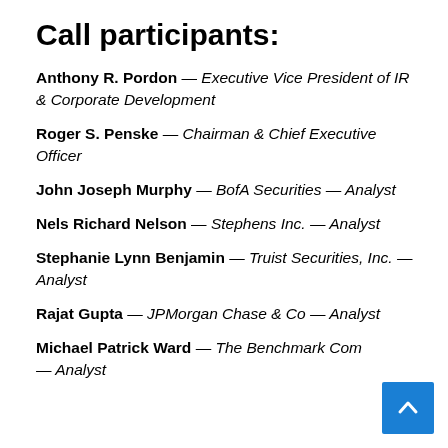Call participants:
Anthony R. Pordon — Executive Vice President of IR & Corporate Development
Roger S. Penske — Chairman & Chief Executive Officer
John Joseph Murphy — BofA Securities — Analyst
Nels Richard Nelson — Stephens Inc. — Analyst
Stephanie Lynn Benjamin — Truist Securities, Inc. — Analyst
Rajat Gupta — JPMorgan Chase & Co — Analyst
Michael Patrick Ward — The Benchmark Company — Analyst